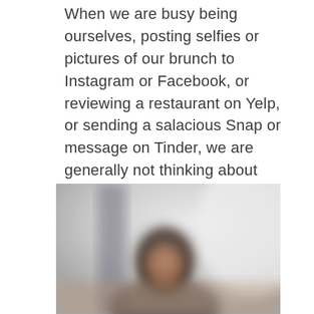When we are busy being ourselves, posting selfies or pictures of our brunch to Instagram or Facebook, or reviewing a restaurant on Yelp, or sending a salacious Snap or message on Tinder, we are generally not thinking about our ethical obligations as lawyers. We're in our private lives, we think. We are free to have that, surely.
[Figure (photo): A blurred/redacted photograph of a person, partially obscured, appearing to show someone from the shoulders up against a light background.]